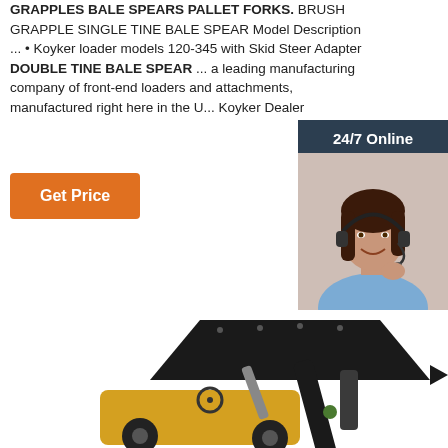GRAPPLES BALE SPEARS PALLET FORKS. BRUSH GRAPPLE SINGLE TINE BALE SPEAR Model Description ... • Koyker loader models 120-345 with Skid Steer Adapter DOUBLE TINE BALE SPEAR ... a leading manufacturing company of front-end loaders and attachments, manufactured right here in the U... Koyker Dealer
[Figure (other): Orange 'Get Price' button]
[Figure (photo): 24/7 Online chat panel with a female customer service representative wearing a headset, and a 'Click here for free chat! QUOTATION' button below]
[Figure (photo): Photo of a yellow/black front-end loader machine attachment with bale spear, viewed from the side/rear]